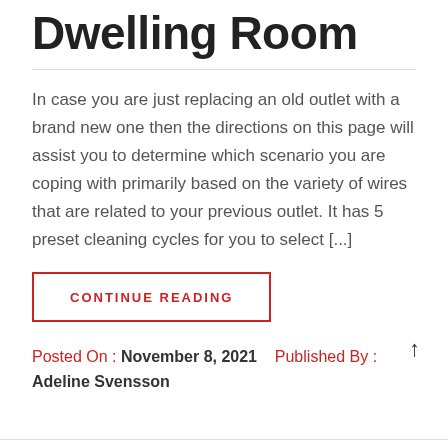Dwelling Room
In case you are just replacing an old outlet with a brand new one then the directions on this page will assist you to determine which scenario you are coping with primarily based on the variety of wires that are related to your previous outlet. It has 5 preset cleaning cycles for you to select [...]
CONTINUE READING
Posted On : November 8, 2021   Published By : Adeline Svensson